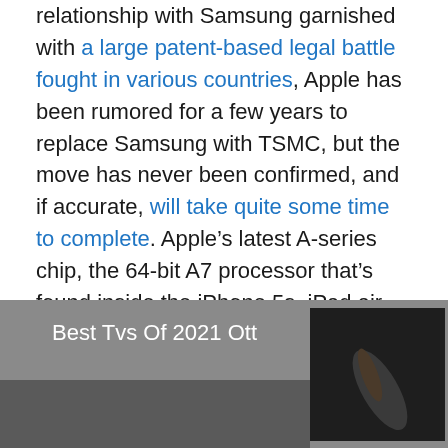relationship with Samsung garnished with a large patent-based legal battle fought in various countries, Apple has been rumored for a few years to replace Samsung with TSMC, but the move has never been confirmed, and if accurate, will take quite some time to complete. Apple's latest A-series chip, the 64-bit A7 processor that's found inside the iPhone 5s, iPad air and Retina iPad mini, is also mass-produced by Samsung.
[Figure (photo): A dark-toned image with text overlay reading 'Best Tvs Of 2021 Ott', showing what appears to be a TV or screen product photo on a gray background.]